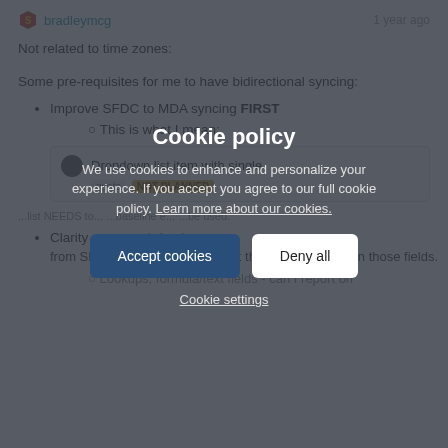bradleymcg — 1 year ago
Not related to time zones:
Some pre-requisites for me to have bidirectional syncing:
Improve SFDC to MDA syncing FIRST
This is what I mean:
[Figure (screenshot): Inner comment box showing 'Dropdown list item with single quote' with tags 'quote' and 'NOT PLANNED']
Clarity on what fields/picklists MDA can bring in from SFDC, and specifically what the limitations are on those fields
Lookups, formula/text fields - can I report on
Cookie policy — We use cookies to enhance and personalize your experience. If you accept you agree to our full cookie policy. Learn more about our cookies.
Accept cookies | Deny all
Cookie settings